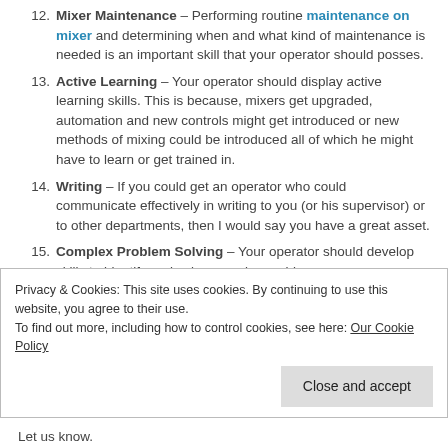12. Mixer Maintenance – Performing routine maintenance on mixer and determining when and what kind of maintenance is needed is an important skill that your operator should posses.
13. Active Learning – Your operator should display active learning skills. This is because, mixers get upgraded, automation and new controls might get introduced or new methods of mixing could be introduced all of which he might have to learn or get trained in.
14. Writing – If you could get an operator who could communicate effectively in writing to you (or his supervisor) or to other departments, then I would say you have a great asset.
15. Complex Problem Solving – Your operator should develop skills to identify and solve complex problems
Privacy & Cookies: This site uses cookies. By continuing to use this website, you agree to their use.
To find out more, including how to control cookies, see here: Our Cookie Policy
Let us know.